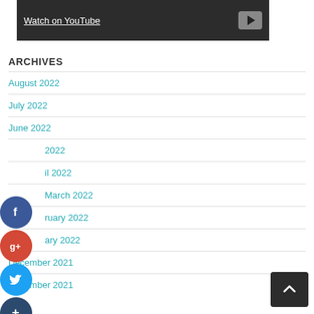[Figure (screenshot): YouTube video embed block with 'Watch on YouTube' link and play button on dark background]
ARCHIVES
August 2022
July 2022
June 2022
May 2022
April 2022
March 2022
February 2022
January 2022
December 2021
November 2021